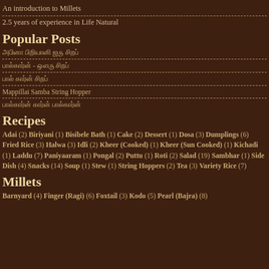An introduction to Millets
2.5 years of experience in Life Natural
Popular Posts
[Tamil script] popular posts item 1
[Tamil script] popular posts item 2
[Tamil script] popular posts item 3
Mappillai Samba String Hopper
[Tamil script] popular posts item 5
Recipes
Adai (2) Biriyani (1) Bisibele Bath (1) Cake (2) Dessert (1) Dosa (3) Dumplings (6) Fried Rice (3) Halwa (3) Idli (2) Kheer (Cooked) (1) Kheer (Sun Cooked) (1) Kichadi (1) Laddu (7) Paniyaaram (1) Pongal (2) Puttu (1) Roti (2) Salad (19) Sambhar (1) Side Dish (4) Snacks (14) Soup (1) Stew (1) String Hoppers (2) Tea (3) Variety Rice (7)
Millets
Barnyard (4) Finger (Ragi) (6) Foxtail (3) Kodo (5) Pearl (Bajra) (8)